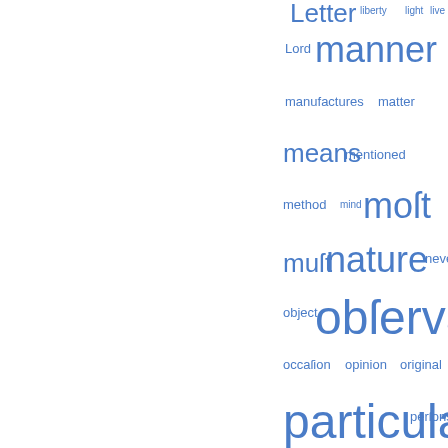[Figure (other): Word cloud with terms in various sizes in blue color, including: Letter, liberty, light, live, Lord, manner, manufactures, matter, means, mentioned, method, mind, most, must, nature, never, object, observations, occasion, opinion, original, particular, persons, plants, practice, present, principles, produce, proper, Readers, reason, received, regard, relating, religion, remarks, respect, said, same, says, see, seems, sense, several, shall, should, some, state, subject]